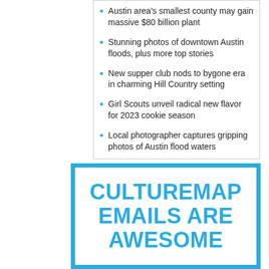Austin area's smallest county may gain massive $80 billion plant
Stunning photos of downtown Austin floods, plus more top stories
New supper club nods to bygone era in charming Hill Country setting
Girl Scouts unveil radical new flavor for 2023 cookie season
Local photographer captures gripping photos of Austin flood waters
CULTUREMAP EMAILS ARE AWESOME